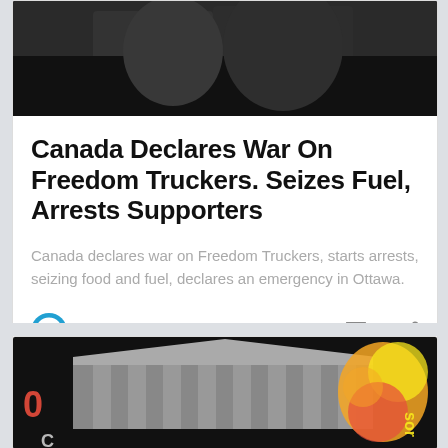[Figure (photo): Dark image of people in winter coats, cropped at top of card]
Canada Declares War On Freedom Truckers. Seizes Fuel, Arrests Supporters
Canada declares war on Freedom Truckers, starts arrests, seizing food and fuel, declares an emergency in Ottawa.
0Censor   0
[Figure (photo): Image showing a building with classical architecture columns and a colorful blurred element on the right, with 0Censor branding overlaid]